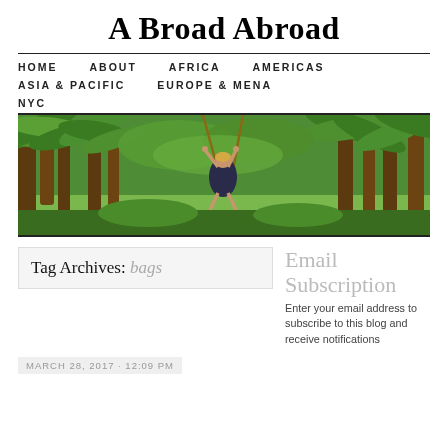A Broad Abroad
HOME   ABOUT   AFRICA   AMERICAS   ASIA & PACIFIC   EUROPE & MENA   NYC
[Figure (photo): Two people on a rope swing among tropical palm trees and lush green jungle scenery]
Tag Archives: bags
Email Subscription
Enter your email address to subscribe to this blog and receive notifications
MARCH 28, 2017 · 12:09 PM